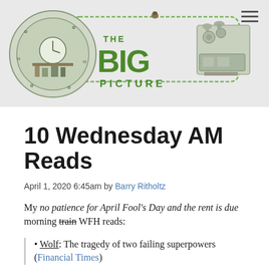[Figure (logo): The Big Picture blog logo with circular illustrated emblem on left, 'THE BIG PICTURE' text in green in center, illustrated machine/press on right, hamburger menu icon top right]
10 Wednesday AM Reads
April 1, 2020 6:45am by Barry Ritholtz
My no patience for April Fool's Day and the rent is due morning train WFH reads:
Wolf: The tragedy of two failing superpowers (Financial Times)